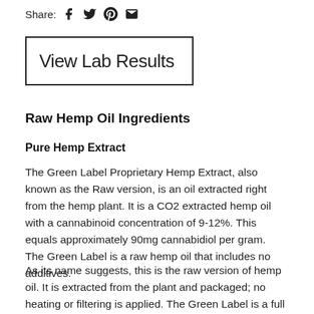Share:
[Figure (other): View Lab Results button with border]
Raw Hemp Oil Ingredients
Pure Hemp Extract
The Green Label Proprietary Hemp Extract, also known as the Raw version, is an oil extracted right from the hemp plant. It is a CO2 extracted hemp oil with a cannabinoid concentration of 9-12%. This equals approximately 90mg cannabidiol per gram.  The Green Label is a raw hemp oil that includes no additives.
As its name suggests, this is the raw version of hemp oil. It is extracted from the plant and packaged; no heating or filtering is applied. The Green Label is a full spectrum